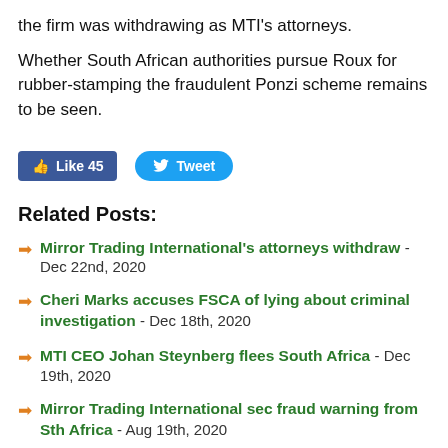the firm was withdrawing as MTI's attorneys.
Whether South African authorities pursue Roux for rubber-stamping the fraudulent Ponzi scheme remains to be seen.
[Figure (other): Social media buttons: Facebook Like (45) and Twitter Tweet]
Related Posts:
Mirror Trading International's attorneys withdraw - Dec 22nd, 2020
Cheri Marks accuses FSCA of lying about criminal investigation - Dec 18th, 2020
MTI CEO Johan Steynberg flees South Africa - Dec 19th, 2020
Mirror Trading International sec fraud warning from Sth Africa - Aug 19th, 2020